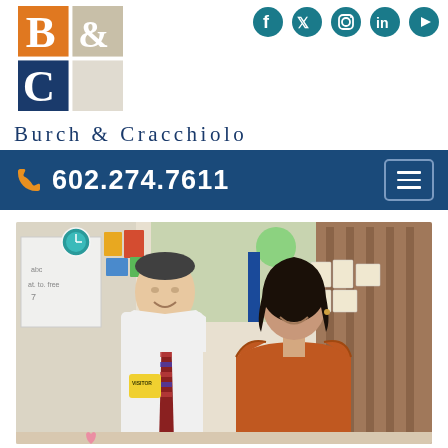[Figure (logo): Burch & Cracchiolo law firm logo with B&C monogram in orange, navy, and tan squares]
[Figure (infographic): Social media icons: Facebook, Twitter, Instagram, LinkedIn, YouTube in teal circles]
Burch & Cracchiolo
602.274.7611
[Figure (photo): Two people smiling in a classroom setting. A man in white dress shirt and patterned tie wearing a visitor badge, and a woman in a rust/orange top. Classroom decor visible in background including a clock, colorful papers, and student work on the walls.]